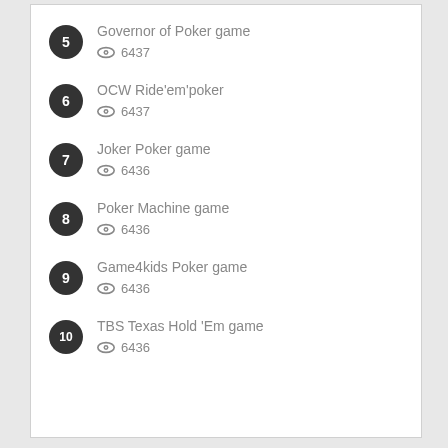5 · Governor of Poker game · 6437 views
6 · OCW Ride'em'poker · 6437 views
7 · Joker Poker game · 6436 views
8 · Poker Machine game · 6436 views
9 · Game4kids Poker game · 6436 views
10 · TBS Texas Hold 'Em game · 6436 views